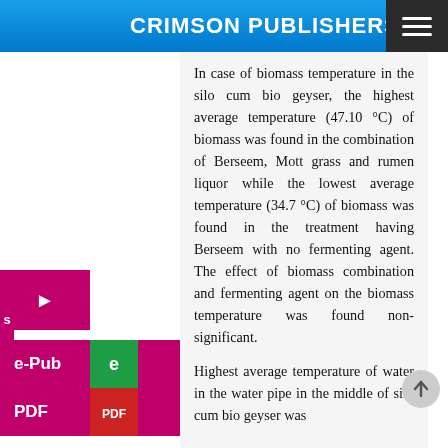CRIMSON PUBLISHERS
In case of biomass temperature in the silo cum bio geyser, the highest average temperature (47.10 °C) of biomass was found in the combination of Berseem, Mott grass and rumen liquor while the lowest average temperature (34.7 °C) of biomass was found in the treatment having Berseem with no fermenting agent. The effect of biomass combination and fermenting agent on the biomass temperature was found non-significant.
Highest average temperature of water in the water pipe in the middle of silo cum bio geyser was